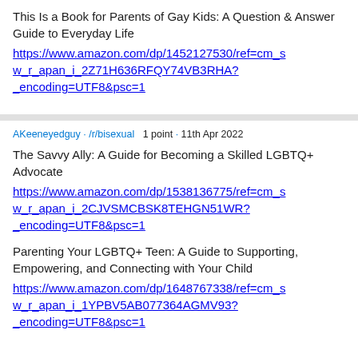This Is a Book for Parents of Gay Kids: A Question & Answer Guide to Everyday Life https://www.amazon.com/dp/1452127530/ref=cm_sw_r_apan_i_2Z71H636RFQY74VB3RHA?_encoding=UTF8&psc=1
AKeeneyedguy · /r/bisexual   1 point · 11th Apr 2022
The Savvy Ally: A Guide for Becoming a Skilled LGBTQ+ Advocate https://www.amazon.com/dp/1538136775/ref=cm_sw_r_apan_i_2CJVSMCBSK8TEHGN51WR?_encoding=UTF8&psc=1
Parenting Your LGBTQ+ Teen: A Guide to Supporting, Empowering, and Connecting with Your Child https://www.amazon.com/dp/1648767338/ref=cm_sw_r_apan_i_1YPBV5AB077364AGMV93?_encoding=UTF8&psc=1